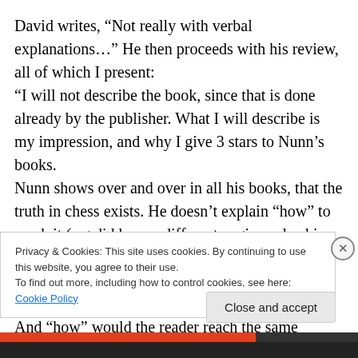David writes, “Not really with verbal explanations…” He then proceeds with his review, all of which I present:
“I will not describe the book, since that is done already by the publisher. What I will describe is my impression, and why I give 3 stars to Nunn’s books.
Nunn shows over and over in all his books, that the truth in chess exists. He doesn’t explain “how” to reach it (e.g did he use different engines plus his GM Level evaluation? Or he just analyses everything by himself, and then ask to someone else to check the analysis with an engine? or…?
And “how” would the reader reach the same “truth” if he is
Privacy & Cookies: This site uses cookies. By continuing to use this website, you agree to their use.
To find out more, including how to control cookies, see here: Cookie Policy
Close and accept